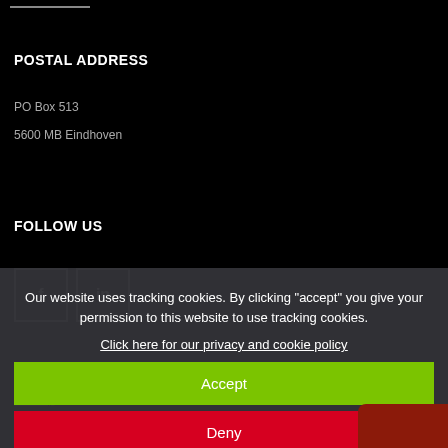POSTAL ADDRESS
PO Box 513
5600 MB Eindhoven
FOLLOW US
[Figure (other): Social media icons: Facebook (f) and LinkedIn (in) square outline boxes]
Our website uses tracking cookies. By clicking "accept" you give your permission to this website to use tracking cookies.
Click here for our privacy and cookie policy
Accept
Deny
© 2022 TU/e
Sitemap